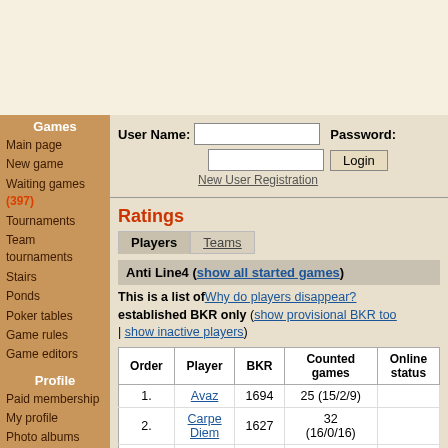Games
Main page
New game
Waiting games (397)
Tournaments
Team tournaments
Stairs
Ponds
Poker tables
Game rules
Game editors
Profile
Paid membership
My profile
Photo albums
Message box
Events
Friends
Blocked users
Settings
Statistics
User Name: [input] Password: [input] Login New User Registration
Ratings
Players | Teams
Anti Line4 (show all started games)
This is a list of Why do players disappear? established BKR only (show provisional BKR too | show inactive players)
| Order | Player | BKR | Counted games | Online status |
| --- | --- | --- | --- | --- |
| 1. | Avaz | 1694 | 25 (15/2/9) |  |
| 2. | Carpe Diem | 1627 | 32 (16/0/16) |  |
| 3. |  | 1??? | 118 |  |